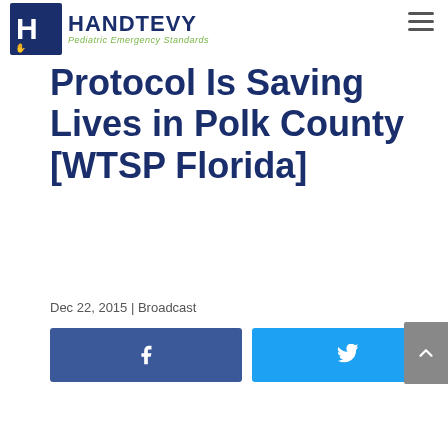HANDTEVY Pediatric Emergency Standards
Protocol Is Saving Lives in Polk County [WTSP Florida]
Dec 22, 2015 | Broadcast
[Figure (other): Facebook and Twitter social sharing buttons]
[Figure (other): Scroll-to-top button with upward chevron arrow]